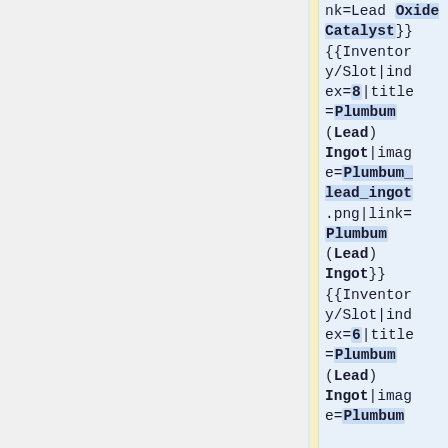nk=Lead Oxide Catalyst}}{{Inventory/Slot|index=8|title=Plumbum (Lead) Ingot|image=Plumbum_lead_ingot.png|link=Plumbum (Lead) Ingot}}{{Inventory/Slot|index=6|title=Plumbum (Lead) Ingot|image=Plumbum